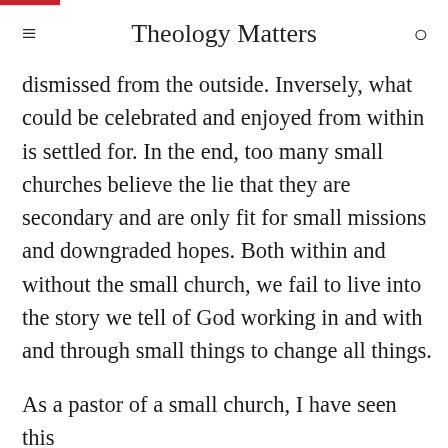Theology Matters
dismissed from the outside. Inversely, what could be celebrated and enjoyed from within is settled for. In the end, too many small churches believe the lie that they are secondary and are only fit for small missions and downgraded hopes. Both within and without the small church, we fail to live into the story we tell of God working in and with and through small things to change all things.
As a pastor of a small church, I have seen this